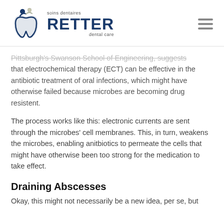[Figure (logo): Retter Dental Care logo with tooth icon and text 'soins dentaires RETTER dental care']
Pittsburgh's Swanson School of Engineering, suggests that electrochemical therapy (ECT) can be effective in the antibiotic treatment of oral infections, which might have otherwise failed because microbes are becoming drug resistent.
The process works like this: electronic currents are sent through the microbes' cell membranes. This, in turn, weakens the microbes, enabling anitbiotics to permeate the cells that might have otherwise been too strong for the medication to take effect.
Draining Abscesses
Okay, this might not necessarily be a new idea, per se, but